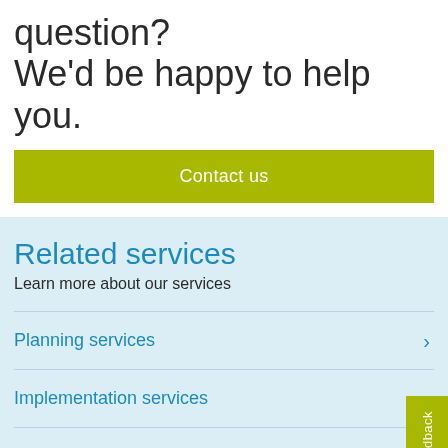question?
We'd be happy to help you.
Contact us
Related services
Learn more about our services
Planning services
Implementation services
Optimization services
Feedback